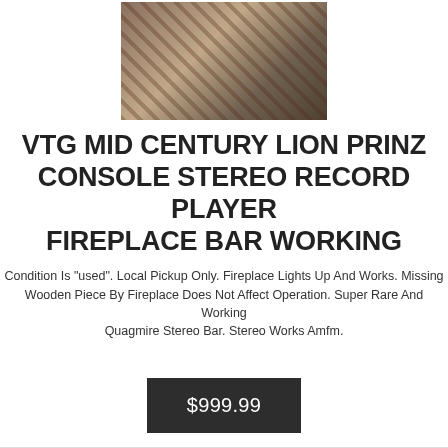[Figure (photo): Photo of a vintage mid-century console stereo record player with fireplace bar, showing wooden cabinet with lattice/diamond pattern grill, items inside visible, on a concrete floor]
VTG MID CENTURY LION PRINZ CONSOLE STEREO RECORD PLAYER FIREPLACE BAR WORKING
Condition Is "used". Local Pickup Only. Fireplace Lights Up And Works. Missing Wooden Piece By Fireplace Does Not Affect Operation. Super Rare And Working Quagmire Stereo Bar. Stereo Works Amfm.
$999.99
[Figure (photo): Partial photo at the bottom of the page, showing what appears to be another view of the item]